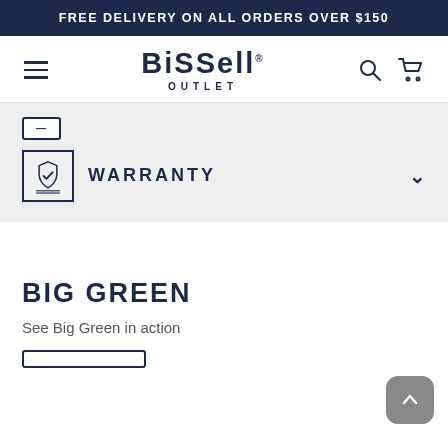FREE DELIVERY ON ALL ORDERS OVER $150
[Figure (logo): Bissell Outlet logo with hamburger menu, search icon, and cart icon navigation bar]
WARRANTY
BIG GREEN
See Big Green in action